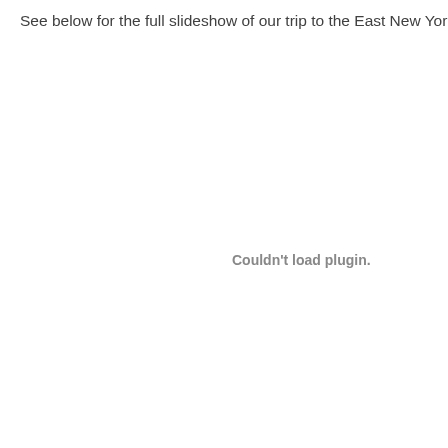See below for the full slideshow of our trip to the East New York F
Couldn't load plugin.